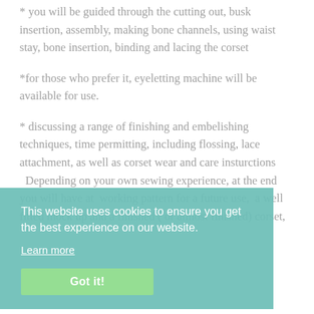* you will be guided through the cutting out, busk insertion, assembly, making bone channels, using waist stay, bone insertion, binding and lacing the corset
*for those who prefer it, eyeletting machine will be available for use.
* discussing a range of finishing and embelishing techniques, time permitting, including flossing, lace attachment, as well as corset wear and care insturctions
Depending on your own sewing experience, at the end you will have at  working pattern for a future use,  a well fitted mock up and a finished ( or almost finished) corset,
This website uses cookies to ensure you get the best experience on our website.
Learn more
Got it!